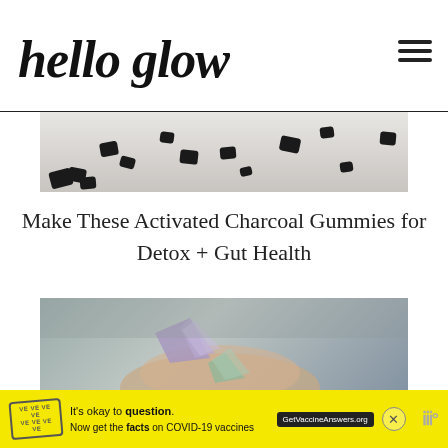hello glow
[Figure (photo): Black activated charcoal gummy candies scattered on a white surface, viewed from above]
Make These Activated Charcoal Gummies for Detox + Gut Health
[Figure (photo): A hand holding rough mineral/crystal rocks including purple amethyst and green mineral, against a grey concrete background]
[Figure (infographic): Advertisement banner: It's okay to question. Now get the facts on COVID-19 vaccines. GetVaccineAnswers.org]